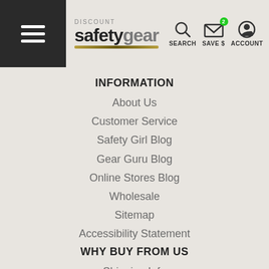Discount Safety Gear - SEARCH, SAVE $, ACCOUNT
INFORMATION
About Us
Customer Service
Safety Girl Blog
Gear Guru Blog
Online Stores Blog
Wholesale
Sitemap
Accessibility Statement
WHY BUY FROM US
Shipping Info
Return Policy
Privacy Policy
Terms of Service
Customer Reviews
MY ACCOUNT
Sign In